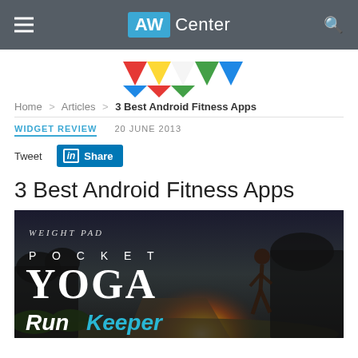AW Center
[Figure (logo): Colorful geometric logo made of triangles in red, yellow, green, blue, white]
Home > Articles > 3 Best Android Fitness Apps
WIDGET REVIEW   20 JUNE 2013
Tweet   Share
3 Best Android Fitness Apps
[Figure (photo): Composite image showing Weight Pad, Pocket Yoga, RunKeeper app logos/text over a background photo of a woman running at sunset]